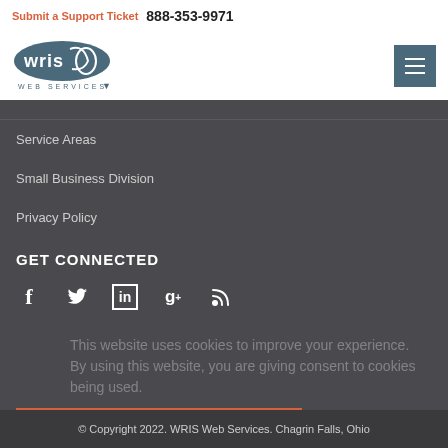Submit a Support Ticket  888-353-9971
[Figure (logo): WRIS Web Services logo with stylized text and hamburger menu button]
Service Areas
Small Business Division
Privacy Policy
GET CONNECTED
[Figure (infographic): Social media icons: Facebook, Twitter, LinkedIn, Google+, RSS]
This website uses cookies to improve your experience. By using this website, you are giving consent to cookies being used. Cookie Policy
SUBMIT A SUPPORT TICKET
© Copyright 2022. WRIS Web Services. Chagrin Falls, Ohio